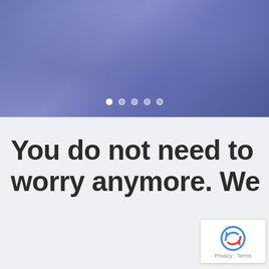[Figure (photo): Blue-purple toned background image resembling fabric or clothing, with a carousel navigation showing 5 dots (first dot active/white, others semi-transparent)]
You do not need to worry anymore. We